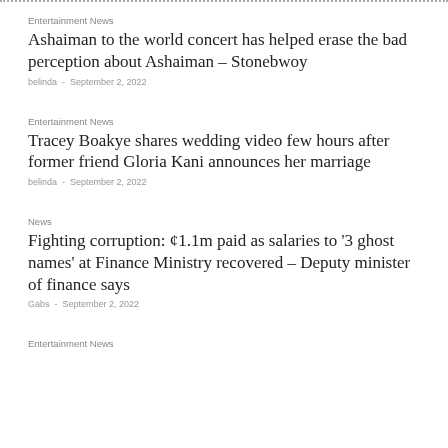..........................................................................................................
Entertainment News
Ashaiman to the world concert has helped erase the bad perception about Ashaiman – Stonebwoy
belinda  -  September 2, 2022
Entertainment News
Tracey Boakye shares wedding video few hours after former friend Gloria Kani announces her marriage
belinda  -  September 2, 2022
News
Fighting corruption: ¢1.1m paid as salaries to '3 ghost names' at Finance Ministry recovered – Deputy minister of finance says
Gabs  -  September 2, 2022
Entertainment News